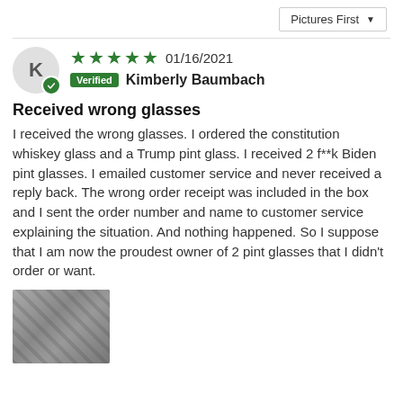Pictures First ▼
★★★★★ 01/16/2021
Verified Kimberly Baumbach
Received wrong glasses
I received the wrong glasses. I ordered the constitution whiskey glass and a Trump pint glass. I received 2 f**k Biden pint glasses. I emailed customer service and never received a reply back. The wrong order receipt was included in the box and I sent the order number and name to customer service explaining the situation. And nothing happened. So I suppose that I am now the proudest owner of 2 pint glasses that I didn't order or want.
[Figure (photo): Photo of pint glasses in a box]